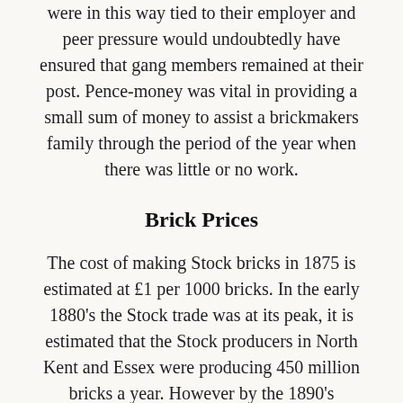were in this way tied to their employer and peer pressure would undoubtedly have ensured that gang members remained at their post. Pence-money was vital in providing a small sum of money to assist a brickmakers family through the period of the year when there was little or no work.
Brick Prices
The cost of making Stock bricks in 1875 is estimated at £1 per 1000 bricks. In the early 1880's the Stock trade was at its peak, it is estimated that the Stock producers in North Kent and Essex were producing 450 million bricks a year. However by the 1890's competition from the Fletton and Cowley (Oxford) manufacturers was seriously affecting the Stock trade. Cheap imports from Belgium were also available, priced at 4/6d per